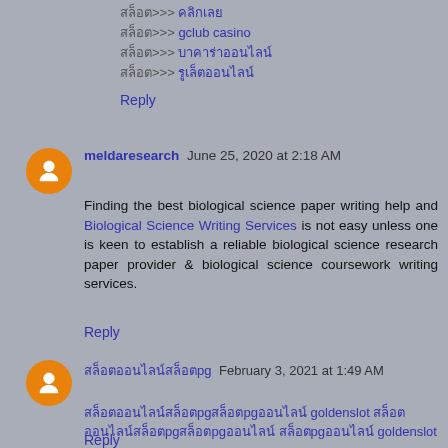สล็อต>>> คลิกเลย
สล็อต>>> gclub casino
สล็อต>>> บาคาร่าออนไลน์
สล็อต>>> รูเล็ตออนไลน์
Reply
meldaresearch  June 25, 2020 at 2:18 AM
Finding the best biological science paper writing help and Biological Science Writing Services is not easy unless one is keen to establish a reliable biological science research paper provider & biological science coursework writing services.
Reply
สล็อตออนไลน์สล็อตpg  February 3, 2021 at 1:49 AM
สล็อตออนไลน์สล็อตpgสล็อตpgออนไลน์ goldenslot สล็อตออนไลน์สล็อตpgสล็อตpgออนไลน์ สล็อตpgออนไลน์ goldenslot
Reply